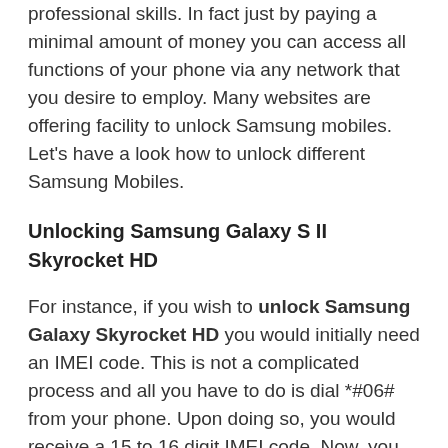professional skills. In fact just by paying a minimal amount of money you can access all functions of your phone via any network that you desire to employ. Many websites are offering facility to unlock Samsung mobiles. Let's have a look how to unlock different Samsung Mobiles.
Unlocking Samsung Galaxy S II Skyrocket HD
For instance, if you wish to unlock Samsung Galaxy Skyrocket HD you would initially need an IMEI code. This is not a complicated process and all you have to do is dial *#06# from your phone. Upon doing so, you would receive a 15 to 16 digit IMEI code. Now, you would be required to pay some amount to the company. Most of the companies provide facility to pay through credit card, online banking, PayPal or whichever method suits you. After having done that, you will receive your